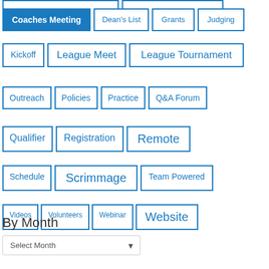Coaches Meeting
Dean's List
Grants
Judging
Kickoff
League Meet
League Tournament
Outreach
Policies
Practice
Q&A Forum
Qualifier
Registration
Remote
Schedule
Scrimmage
Team Powered
Videos
Volunteers
Webinar
Website
Workshop
By Month
Select Month